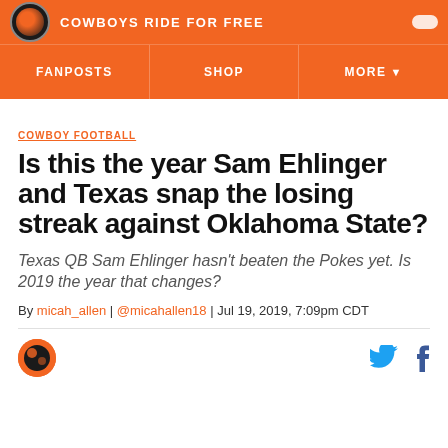COWBOYS RIDE FOR FREE
FANPOSTS | SHOP | MORE
COWBOY FOOTBALL
Is this the year Sam Ehlinger and Texas snap the losing streak against Oklahoma State?
Texas QB Sam Ehlinger hasn't beaten the Pokes yet. Is 2019 the year that changes?
By micah_allen | @micahallen18 | Jul 19, 2019, 7:09pm CDT